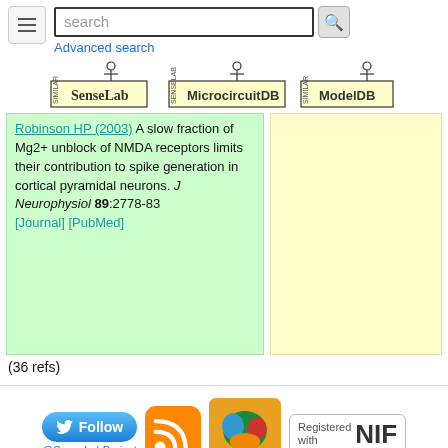search  Advanced search
[Figure (logo): SenseLab logo, MicrocircuitDB logo, ModelDB logo]
Robinson HP (2003) A slow fraction of Mg2+ unblock of NMDA receptors limits their contribution to spike generation in cortical pyramidal neurons. J Neurophysiol 89:2778-83 [Journal] [PubMed]
(36 refs)
[Figure (logo): Twitter Follow button @SenseLabProject, RSS feed icon, brain icon, Registered with NIF badge]
MicroCircuitDB Home   SenseLab Home
Questions, comments, problems? Email the MicroCircuitDB Administrator
© This site is Copyright @1998-2022 Shepherd Lab, Yale University